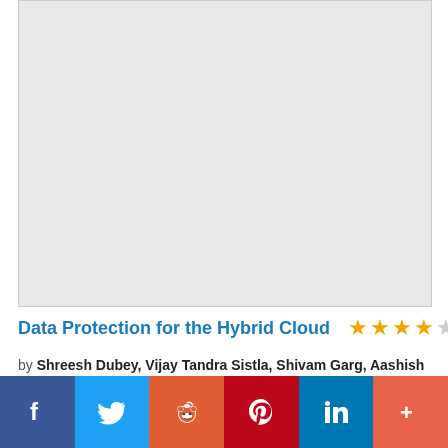[Figure (illustration): Book cover placeholder – light gray rectangle representing the cover of 'Data Protection for the Hybrid Cloud']
Data Protection for the Hybrid Cloud
by Shreesh Dubey, Vijay Tandra Sistla, Shivam Garg, Aashish Ramdas, Mitch Tulloch
[Figure (infographic): Social share bar with buttons: Facebook, Twitter, Reddit, Pinterest, LinkedIn, More (+)]